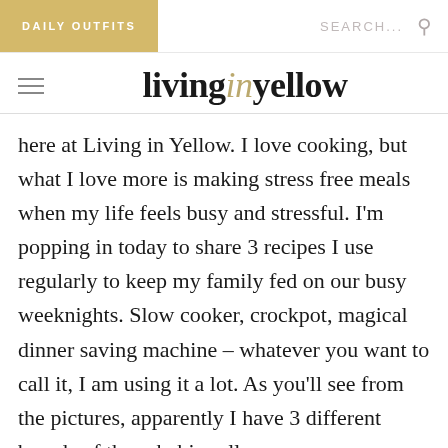DAILY OUTFITS   SEARCH...
livinginyellow
here at Living in Yellow. I love cooking, but what I love more is making stress free meals when my life feels busy and stressful. I'm popping in today to share 3 recipes I use regularly to keep my family fed on our busy weeknights. Slow cooker, crockpot, magical dinner saving machine – whatever you want to call it, I am using it a lot. As you'll see from the pictures, apparently I have 3 different brands of these babies all